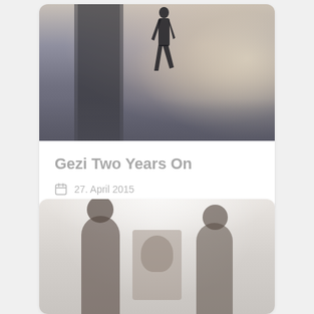[Figure (photo): Person silhouette walking through smoke and haze, with a damaged or burned building structure visible on the left side. Protest/conflict scene outdoors.]
Gezi Two Years On
27. April 2015
[Figure (photo): Two people standing in a foggy or hazy outdoor environment, possibly at a protest or memorial, with a large portrait or poster visible between them.]